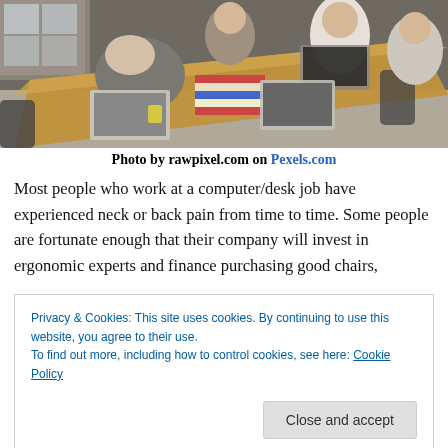[Figure (photo): Office scene with several people working at laptops around a wooden conference table, viewed from an angle above. One person in a grey patterned sweater is leaning over their laptop. Others are visible in the background.]
Photo by rawpixel.com on Pexels.com
Most people who work at a computer/desk job have experienced neck or back pain from time to time. Some people are fortunate enough that their company will invest in ergonomic experts and finance purchasing good chairs,
Privacy & Cookies: This site uses cookies. By continuing to use this website, you agree to their use.
To find out more, including how to control cookies, see here: Cookie Policy